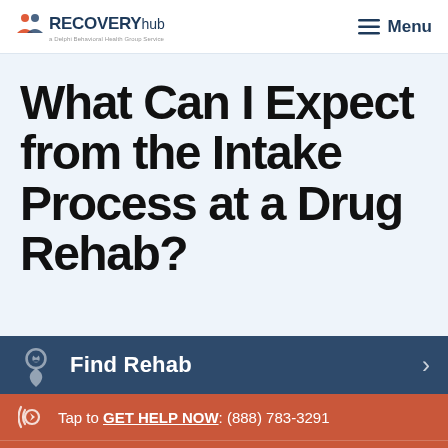RECOVERY hub — Menu
What Can I Expect from the Intake Process at a Drug Rehab?
Find Rehab
Tap to GET HELP NOW: (888) 783-3291
Get Help Now (888) 783-3291